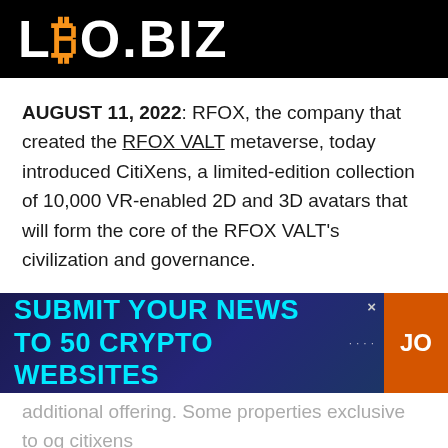LBO.BIZ
AUGUST 11, 2022: RFOX, the company that created the RFOX VALT metaverse, today introduced CitiXens, a limited-edition collection of 10,000 VR-enabled 2D and 3D avatars that will form the core of the RFOX VALT's civilization and governance.
Out of the 10,000 CitiXens avatars in the RFOX VALT, 1,300 are being created as special OG CitiXens, bearing premium features, higher benefits, and
[Figure (infographic): Advertisement banner: SUBMIT YOUR NEWS TO 50 CRYPTO WEBSITES with orange JOIN button on right, dark blue/purple gradient background, close X button top right]
additional offering. Some more text about og citixens